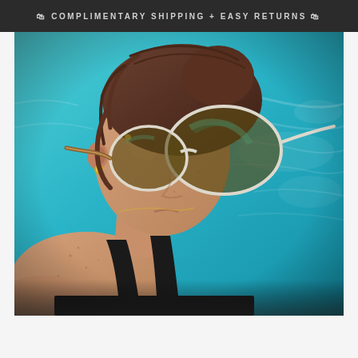🛍 COMPLIMENTARY SHIPPING + EASY RETURNS 🛍
[Figure (photo): Woman wearing round clear-frame sunglasses with reflective brown/gold lenses and tortoiseshell temples, hair pulled back, wearing a black swimsuit, standing in front of a bright turquoise swimming pool. She has a gold earring and delicate necklace. The photo is cropped from shoulders up, shot from slightly behind/side angle.]